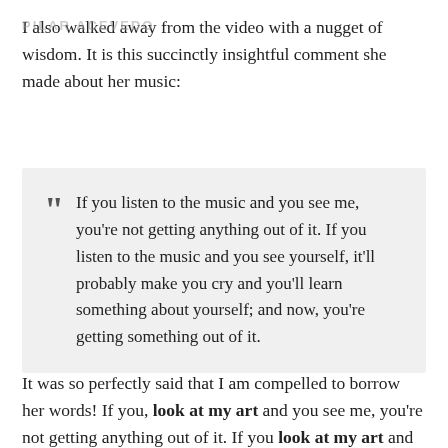PILAR ACEVEDO
I also walked away from the video with a nugget of wisdom. It is this succinctly insightful comment she made about her music:
If you listen to the music and you see me, you're not getting anything out of it. If you listen to the music and you see yourself, it'll probably make you cry and you'll learn something about yourself; and now, you're getting something out of it.
It was so perfectly said that I am compelled to borrow her words! If you, look at my art and you see me, you're not getting anything out of it. If you look at my art and see